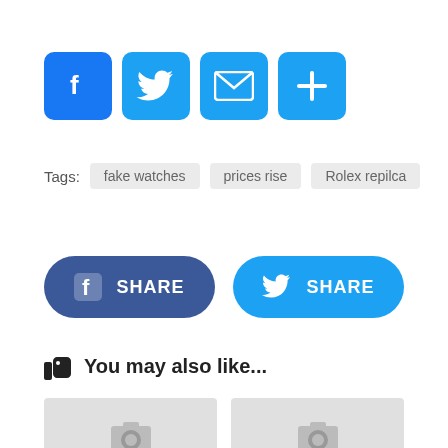[Figure (infographic): Four social sharing icon buttons: Facebook (blue f), Twitter (blue bird), Email (blue envelope), Plus/More (blue plus sign)]
Tags: fake watches  prices rise  Rolex repilca
[Figure (infographic): Two large share buttons: Facebook Share button (dark blue, rounded) and Twitter Share button (light blue, rounded)]
You may also like...
[Figure (infographic): Two grey placeholder image cards side by side with camera icons]